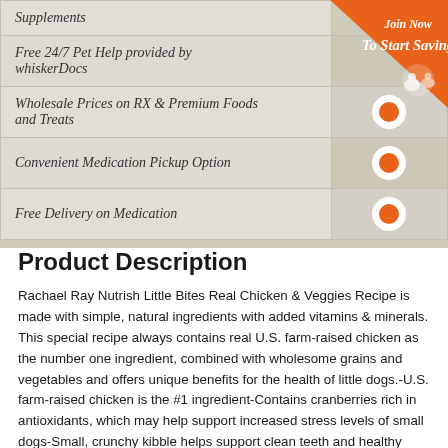| Feature | Join Now / To Start Saving |
| --- | --- |
| Supplements |  |
| Free 24/7 Pet Help provided by whiskerDocs |  |
| Wholesale Prices on RX & Premium Foods and Treats | ● |
| Convenient Medication Pickup Option | ● |
| Free Delivery on Medication | ● |
Product Description
Rachael Ray Nutrish Little Bites Real Chicken & Veggies Recipe is made with simple, natural ingredients with added vitamins & minerals. This special recipe always contains real U.S. farm-raised chicken as the number one ingredient, combined with wholesome grains and vegetables and offers unique benefits for the health of little dogs.-U.S. farm-raised chicken is the #1 ingredient-Contains cranberries rich in antioxidants, which may help support increased stress levels of small dogs-Small, crunchy kibble helps support clean teeth and healthy